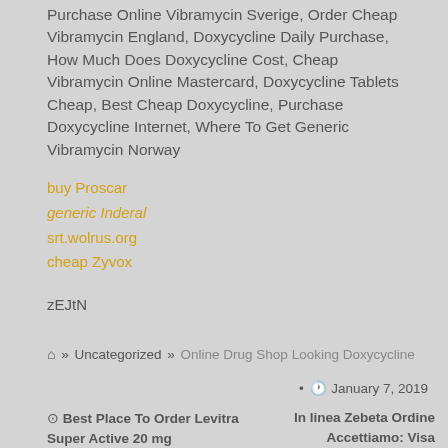Purchase Online Vibramycin Sverige, Order Cheap Vibramycin England, Doxycycline Daily Purchase, How Much Does Doxycycline Cost, Cheap Vibramycin Online Mastercard, Doxycycline Tablets Cheap, Best Cheap Doxycycline, Purchase Doxycycline Internet, Where To Get Generic Vibramycin Norway
buy Proscar
generic Inderal
srt.wolrus.org
cheap Zyvox
zEJtN
🏠 » Uncategorized » Online Drug Shop Looking Doxycycline
• 🕐 January 7, 2019
⊙ Best Place To Order Levitra Super Active 20 mg
In linea Zebeta Ordine Accettiamo: Visa